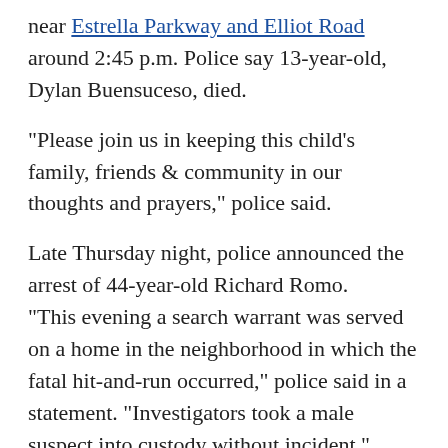near Estrella Parkway and Elliot Road around 2:45 p.m. Police say 13-year-old, Dylan Buensuceso, died.
"Please join us in keeping this child's family, friends & community in our thoughts and prayers," police said.
Late Thursday night, police announced the arrest of 44-year-old Richard Romo. "This evening a search warrant was served on a home in the neighborhood in which the fatal hit-and-run occurred," police said in a statement. "Investigators took a male suspect into custody without incident."
"Many people came forward with camera footage. Ultimately, that was key in solving this case," said Lisa Berry with the Goodyear Police Department.
Romo served four months in prison for aggravated